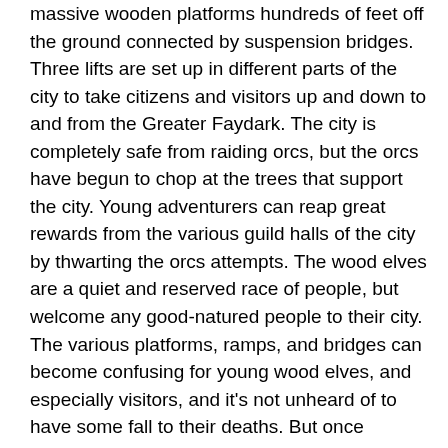massive wooden platforms hundreds of feet off the ground connected by suspension bridges. Three lifts are set up in different parts of the city to take citizens and visitors up and down to and from the Greater Faydark. The city is completely safe from raiding orcs, but the orcs have begun to chop at the trees that support the city. Young adventurers can reap great rewards from the various guild halls of the city by thwarting the orcs attempts. The wood elves are a quiet and reserved race of people, but welcome any good-natured people to their city. The various platforms, ramps, and bridges can become confusing for young wood elves, and especially visitors, and it's not unheard of to have some fall to their deaths. But once familiar with the city's routes, any amenities needed or wanted can be acquired here. Tradeskill tools are scattered throughout the platforms. Several taverns selling wines and ales to resting adventurers are available. And of course the city has its own guilds that train young citizens. The pride of the city is Faydark's Champions, where some of Norrath's greatest rangers begin their journey. The Emerald Warriors equip the only full blooded, untainted elven warriors in the world. The Scouts of Tunare teach the forest's sneakiest rogues the tricks of the trade. Wood elves also make for some of the best bards in the world